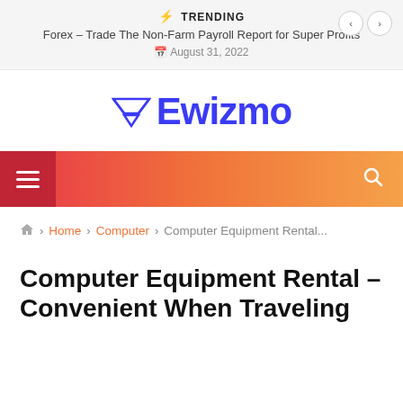⚡ TRENDING
Forex – Trade The Non-Farm Payroll Report for Super Profits
📅 August 31, 2022
[Figure (logo): Ewizmo website logo with blue text and a diamond/funnel icon]
[Figure (infographic): Navigation bar with red hamburger menu button on the left and search icon on the right, gradient background from red to orange]
🏠 Home > Computer > Computer Equipment Rental...
Computer Equipment Rental – Convenient When Traveling